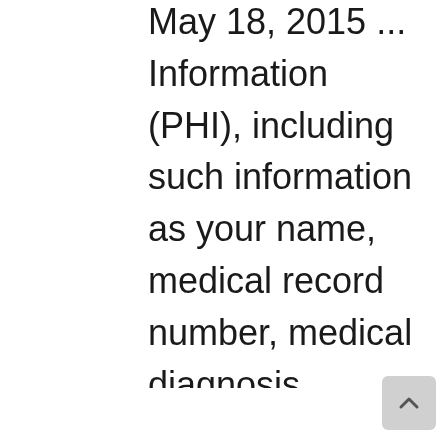May 18, 2015 ... Information (PHI), including such information as your name, medical record number, medical diagnosis, physician's name ... was discovered on March 31, Electronic Medical Records Certificate Course Details Penn Foster's online, flexible Electronic Medical Records course can help you learn to manage medical